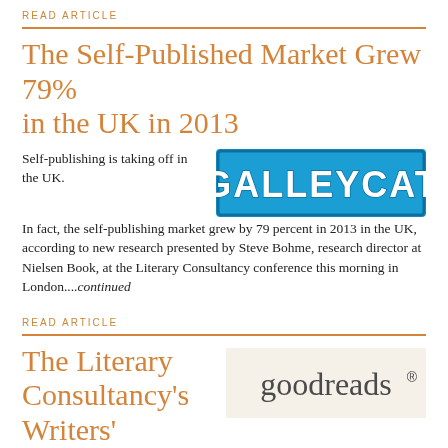READ ARTICLE
The Self-Published Market Grew 79% in the UK in 2013
[Figure (logo): GalleyCat logo — bold white text on blue background]
Self-publishing is taking off in the UK. In fact, the self-publishing market grew by 79 percent in 2013 in the UK, according to new research presented by Steve Bohme, research director at Nielsen Book, at the Literary Consultancy conference this morning in London....continued
READ ARTICLE
The Literary Consultancy's Writers' Conference
[Figure (logo): Goodreads logo — lowercase text on beige/cream background]